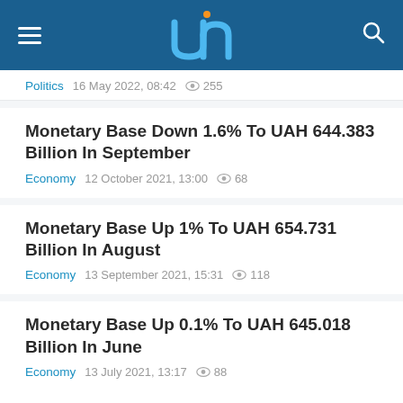[Figure (logo): News website header with hamburger menu, 'un' logo in blue/white, and search icon on dark blue background]
Politics   16 May 2022, 08:42   255
Monetary Base Down 1.6% To UAH 644.383 Billion In September
Economy   12 October 2021, 13:00   68
Monetary Base Up 1% To UAH 654.731 Billion In August
Economy   13 September 2021, 15:31   118
Monetary Base Up 0.1% To UAH 645.018 Billion In June
Economy   13 July 2021, 13:17   88